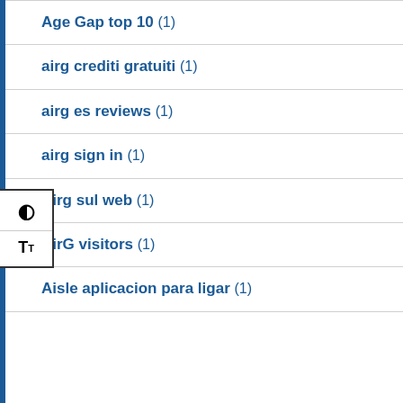Age Gap top 10 (1)
airg crediti gratuiti (1)
airg es reviews (1)
airg sign in (1)
Airg sul web (1)
AirG visitors (1)
Aisle aplicacion para ligar (1)